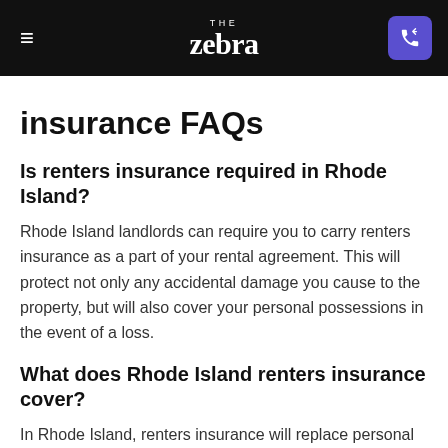THE zebra
insurance FAQs
Is renters insurance required in Rhode Island?
Rhode Island landlords can require you to carry renters insurance as a part of your rental agreement. This will protect not only any accidental damage you cause to the property, but will also cover your personal possessions in the event of a loss.
What does Rhode Island renters insurance cover?
In Rhode Island, renters insurance will replace personal